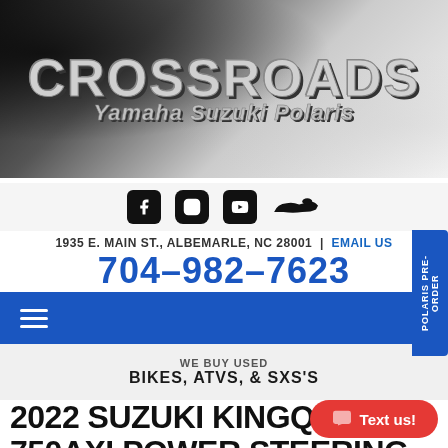[Figure (logo): Crossroads Yamaha Suzuki Polaris dealer logo with grunge background texture]
[Figure (infographic): Social media icons: Facebook, Instagram, YouTube, and jet ski silhouette]
1935 E. MAIN ST., ALBEMARLE, NC 28001 | EMAIL US
704-982-7623
POLARIS PRE-ORDER
WE BUY USED
BIKES, ATVS, & SXS'S
2022 SUZUKI KINGQUAD 750AXI POWER STEERING